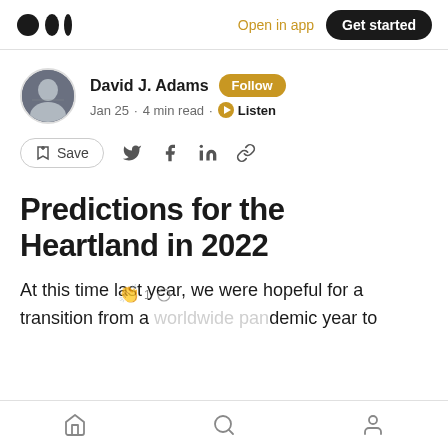Medium logo | Open in app | Get started
David J. Adams · Follow · Jan 25 · 4 min read · Listen
Save (share icons: Twitter, Facebook, LinkedIn, Link)
Predictions for the Heartland in 2022
At this time last year, we were hopeful for a transition from a worldwide pandemic year to
Home · Search · Profile